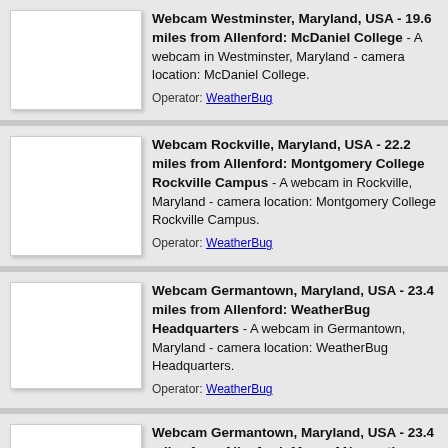[Figure (photo): Thumbnail placeholder for Westminster Maryland webcam]
Webcam Westminster, Maryland, USA - 19.6 miles from Allenford: McDaniel College - A webcam in Westminster, Maryland - camera location: McDaniel College. Operator: WeatherBug
[Figure (photo): Thumbnail placeholder for Rockville Maryland webcam]
Webcam Rockville, Maryland, USA - 22.2 miles from Allenford: Montgomery College Rockville Campus - A webcam in Rockville, Maryland - camera location: Montgomery College Rockville Campus. Operator: WeatherBug
[Figure (photo): Thumbnail placeholder for Germantown Maryland WeatherBug Headquarters webcam]
Webcam Germantown, Maryland, USA - 23.4 miles from Allenford: WeatherBug Headquarters - A webcam in Germantown, Maryland - camera location: WeatherBug Headquarters. Operator: WeatherBug
[Figure (photo): Thumbnail placeholder for Germantown Maryland Mary of Nazareth School webcam]
Webcam Germantown, Maryland, USA - 23.4 miles from Allenford: Mary of Nazareth School - A webcam in Germantown, Maryland - camera location: ...